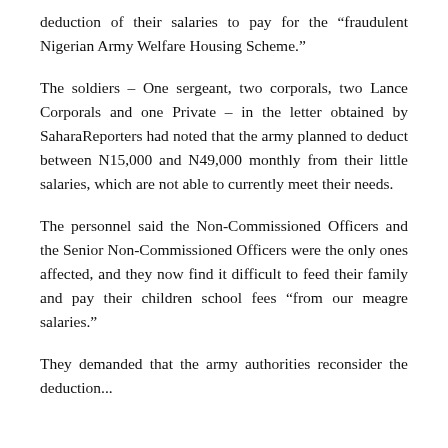deduction of their salaries to pay for the “fraudulent Nigerian Army Welfare Housing Scheme.”
The soldiers – One sergeant, two corporals, two Lance Corporals and one Private – in the letter obtained by SaharaReporters had noted that the army planned to deduct between N15,000 and N49,000 monthly from their little salaries, which are not able to currently meet their needs.
The personnel said the Non-Commissioned Officers and the Senior Non-Commissioned Officers were the only ones affected, and they now find it difficult to feed their family and pay their children school fees “from our meagre salaries.”
They demanded that the army authorities reconsider the deduction...